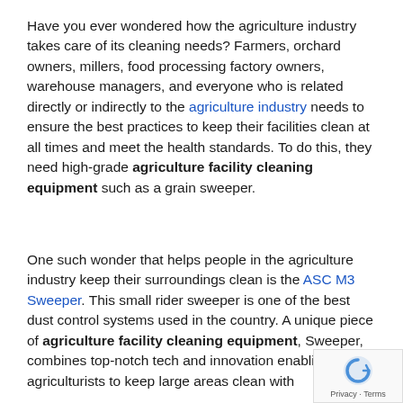Have you ever wondered how the agriculture industry takes care of its cleaning needs? Farmers, orchard owners, millers, food processing factory owners, warehouse managers, and everyone who is related directly or indirectly to the agriculture industry needs to ensure the best practices to keep their facilities clean at all times and meet the health standards. To do this, they need high-grade agriculture facility cleaning equipment such as a grain sweeper.
One such wonder that helps people in the agriculture industry keep their surroundings clean is the ASC M3 Sweeper. This small rider sweeper is one of the best dust control systems used in the country. A unique piece of agriculture facility cleaning equipment, the ASC M3 Sweeper, combines top-notch tech and innovation enabling agriculturists to keep large areas clean with